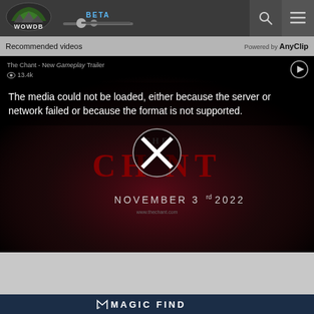[Figure (screenshot): WOWDB website header with logo, BETA label with slider, search icon, and hamburger menu icon]
Recommended videos
Powered by AnyClip
[Figure (screenshot): Video player showing The Chant game trailer with error message: The media could not be loaded, either because the server or network failed or because the format is not supported. The Chant game logo and NOVEMBER 3rd 2022 release date visible.]
The media could not be loaded, either because the server or network failed or because the format is not supported.
[Figure (logo): MAGIC FIND logo in white text on dark navy background at bottom of page]